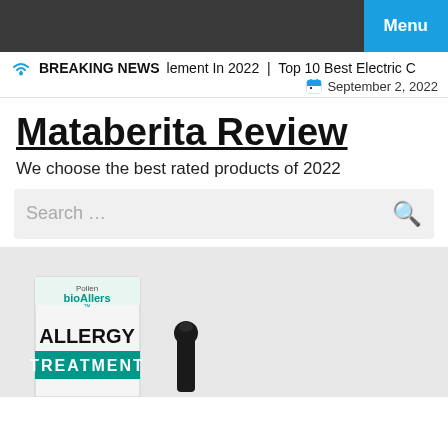Menu
BREAKING NEWS  lement In 2022  |  Top 10 Best Electric C  September 2, 2022
Mataberita Review
We choose the best rated products of 2022
Search …
[Figure (photo): Product photo showing a bioAllers Pollen Allergy Treatment box and a black dropper/roller bottle on a light gray background]